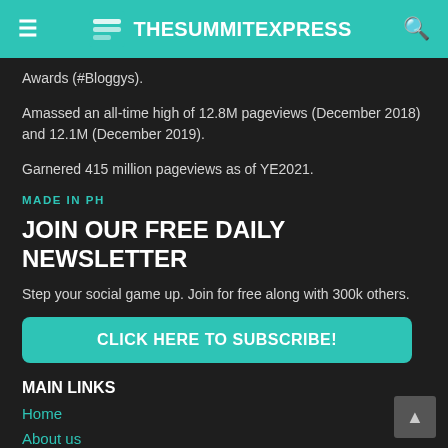TheSummitExpress
Awards (#Bloggys).
Amassed an all-time high of 12.8M pageviews (December 2018) and 12.1M (December 2019).
Garnered 415 million pageviews as of YE2021.
MADE IN PH
JOIN OUR FREE DAILY NEWSLETTER
Step your social game up. Join for free along with 300k others.
CLICK HERE TO SUBSCRIBE!
MAIN LINKS
Home
About us